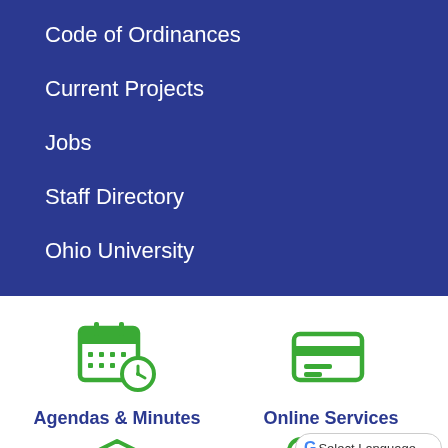Code of Ordinances
Current Projects
Jobs
Staff Directory
Ohio University
[Figure (illustration): Green calendar with clock icon for Agendas & Minutes]
Agendas & Minutes
[Figure (illustration): Green credit card / online services icon]
Online Services
[Figure (illustration): Green building/government icon (partially visible)]
[Figure (illustration): Green person/user icon (partially visible)]
Select Language